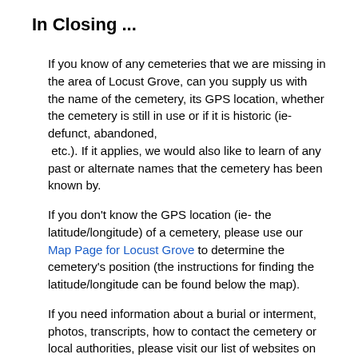In Closing ...
If you know of any cemeteries that we are missing in the area of Locust Grove, can you supply us with the name of the cemetery, its GPS location, whether the cemetery is still in use or if it is historic (ie- defunct, abandoned,  etc.). If it applies, we would also like to learn of any past or alternate names that the cemetery has been known by.
If you don't know the GPS location (ie- the latitude/longitude) of a cemetery, please use our Map Page for Locust Grove to determine the cemetery's position (the instructions for finding the latitude/longitude can be found below the map).
If you need information about a burial or interment, photos, transcripts, how to contact the cemetery or local authorities, please visit our list of websites on our Genealogy Helper Page for Locust Grove.